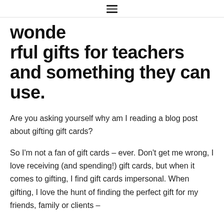☰
wonderful gifts for teachers and something they can use.
Are you asking yourself why am I reading a blog post about gifting gift cards?
So I'm not a fan of gift cards – ever. Don't get me wrong, I love receiving (and spending!) gift cards, but when it comes to gifting, I find gift cards impersonal. When gifting, I love the hunt of finding the perfect gift for my friends, family or clients – and hearing "How did you know I wanted this?!?"